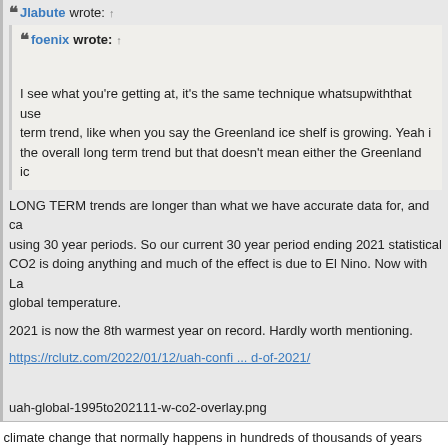Jlabute wrote: ↑
foenix wrote: ↑
I see what you're getting at, it's the same technique whatsupwiththat use... term trend, like when you say the Greenland ice shelf is growing. Yeah i... the overall long term trend but that doesn't mean either the Greenland ic...
LONG TERM trends are longer than what we have accurate data for, and ca... using 30 year periods. So our current 30 year period ending 2021 statistical... CO2 is doing anything and much of the effect is due to El Nino. Now with La... global temperature.
2021 is now the 8th warmest year on record. Hardly worth mentioning.
https://rclutz.com/2022/01/12/uah-confi ... d-of-2021/
uah-global-1995to202111-w-co2-overlay.png
climate change that normally happens in hundreds of thousands of years inst... weather folks and climate researchers are not the same thing and those who...
Tick Tock. Tomorrow doesn't arrive until later.